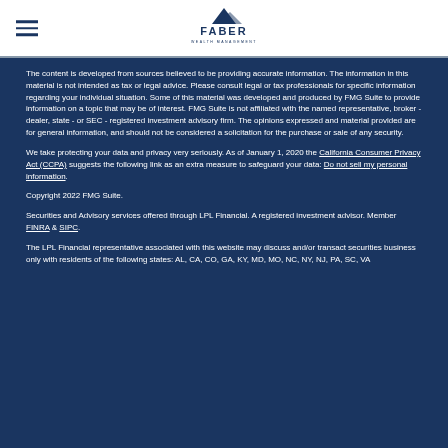[Figure (logo): Faber Wealth Management logo with mountain graphic above the text FABER WEALTH MANAGEMENT]
The content is developed from sources believed to be providing accurate information. The information in this material is not intended as tax or legal advice. Please consult legal or tax professionals for specific information regarding your individual situation. Some of this material was developed and produced by FMG Suite to provide information on a topic that may be of interest. FMG Suite is not affiliated with the named representative, broker - dealer, state - or SEC - registered investment advisory firm. The opinions expressed and material provided are for general information, and should not be considered a solicitation for the purchase or sale of any security.
We take protecting your data and privacy very seriously. As of January 1, 2020 the California Consumer Privacy Act (CCPA) suggests the following link as an extra measure to safeguard your data: Do not sell my personal information.
Copyright 2022 FMG Suite.
Securities and Advisory services offered through LPL Financial. A registered investment advisor. Member FINRA & SIPC.
The LPL Financial representative associated with this website may discuss and/or transact securities business only with residents of the following states: AL, CA, CO, GA, KY, MD, MO, NC, NY, NJ, PA, SC, VA